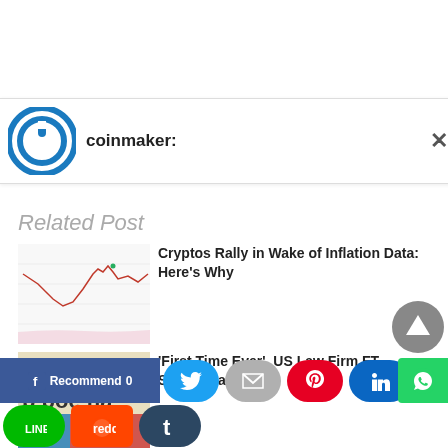[Figure (logo): Coinmaker logo - blue circular power button icon]
coinmaker:
Related Post
[Figure (screenshot): Crypto price chart showing a line graph with red/pink candlestick pattern on a white background with grid lines]
Cryptos Rally in Wake of Inflation Data: Here's Why
[Figure (photo): Newspaper text close-up showing words 'ub or na t' and 'b poe na' with a blue/red horizontal bar overlay]
'First Time Ever', US Law Firm FT Subpoena in
[Figure (infographic): Social sharing toolbar with Facebook, Twitter, share, Pinterest, LinkedIn, Line, Reddit, Tumblr buttons and Facebook recommend button]